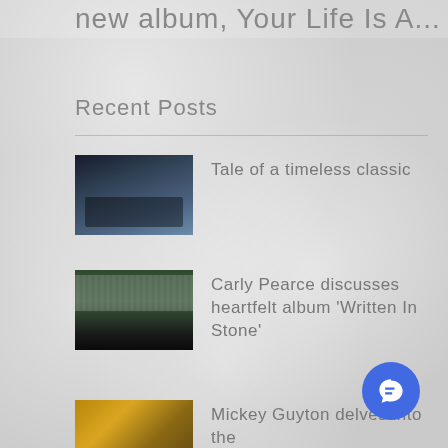new album, Your Life Is A...
Recent Posts
[Figure (photo): Dark atmospheric photo, possibly a person or scene outdoors at dusk]
Tale of a timeless classic
[Figure (photo): Woman in white top and black skirt standing in front of a green wall]
Carly Pearce discusses heartfelt album 'Written In Stone'
[Figure (photo): Partial view of a person]
Mickey Guyton delves into the